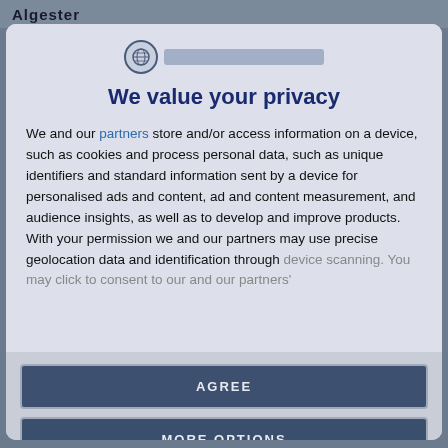Algester
[Figure (logo): Circular logo icon with globe/flag design and a blurred/redacted text label beside it]
We value your privacy
We and our partners store and/or access information on a device, such as cookies and process personal data, such as unique identifiers and standard information sent by a device for personalised ads and content, ad and content measurement, and audience insights, as well as to develop and improve products. With your permission we and our partners may use precise geolocation data and identification through device scanning. You may click to consent to our and our partners'
AGREE
MORE OPTIONS
DISAGREE